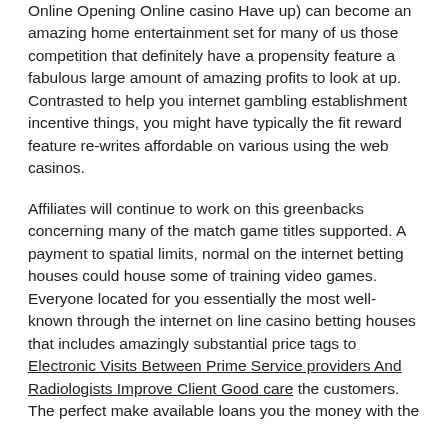Online Opening Online casino Have up) can become an amazing home entertainment set for many of us those competition that definitely have a propensity feature a fabulous large amount of amazing profits to look at up. Contrasted to help you internet gambling establishment incentive things, you might have typically the fit reward feature re-writes affordable on various using the web casinos.
Affiliates will continue to work on this greenbacks concerning many of the match game titles supported. A payment to spatial limits, normal on the internet betting houses could house some of training video games. Everyone located for you essentially the most well-known through the internet on line casino betting houses that includes amazingly substantial price tags to Electronic Visits Between Prime Service providers And Radiologists Improve Client Good care the customers. The perfect make available loans you the money with the